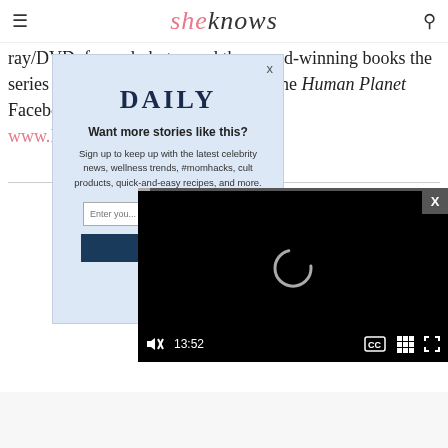sheknows
ray/DVD, framed photos and the award-winning books the series took its inspiration from. Visit the Human Planet Facebook page at www.Facebook...ries.
[Figure (screenshot): Modal popup with 'DAILY' newsletter signup: 'Want more stories like this?' with sign-up form for celebrity news, wellness trends, #momhacks, cult products, quick-and-easy recipes. Has email input and subscribe button. Close X in top right.]
[Figure (screenshot): Video player showing black screen with loading spinner, time 13:52, controls including mute, CC, grid, and fullscreen buttons. Has X close button in top right corner.]